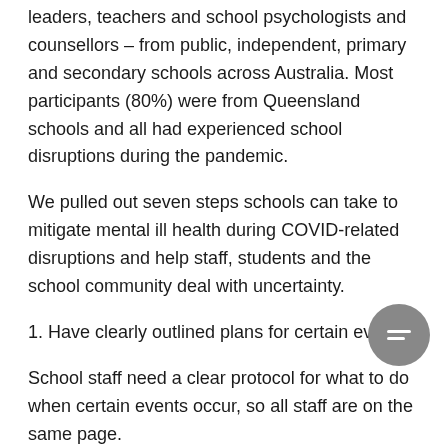leaders, teachers and school psychologists and counsellors – from public, independent, primary and secondary schools across Australia. Most participants (80%) were from Queensland schools and all had experienced school disruptions during the pandemic.
We pulled out seven steps schools can take to mitigate mental ill health during COVID-related disruptions and help staff, students and the school community deal with uncertainty.
1. Have clearly outlined plans for certain events
School staff need a clear protocol for what to do when certain events occur, so all staff are on the same page.
For example, what happens if the school closes for face-to-